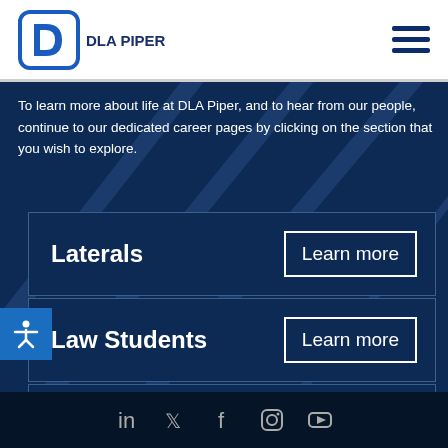[Figure (logo): DLA Piper logo - blue rounded square with white D shape and 'DLA PIPER' text]
To learn more about life at DLA Piper, and to hear from our people, continue to our dedicated career pages by clicking on the section that you wish to explore.
Laterals  Learn more
Law Students  Learn more
Professional Staff  Learn more
Social media icons: LinkedIn, Twitter, Facebook, Instagram, YouTube